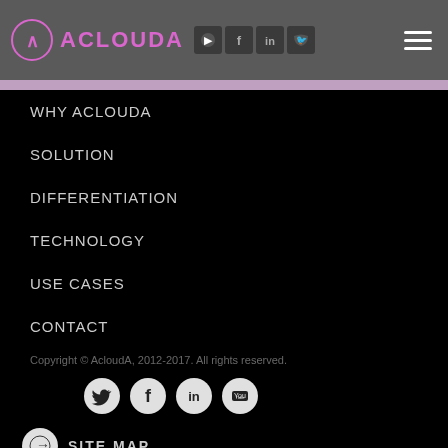ACLOUDA
WHY ACLOUDA
SOLUTION
DIFFERENTIATION
TECHNOLOGY
USE CASES
CONTACT
Copyright © AcloudA, 2012-2017. All rights reserved.
SITE MAP